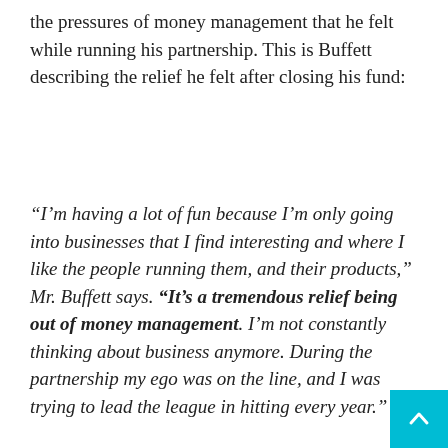the pressures of money management that he felt while running his partnership. This is Buffett describing the relief he felt after closing his fund:
“I’m having a lot of fun because I’m only going into businesses that I find interesting and where I like the people running them, and their products,” Mr. Buffett says. “It’s a tremendous relief being out of money management. I’m not constantly thinking about business anymore. During the partnership my ego was on the line, and I was trying to lead the league in hitting every year.”
[Figure (other): A bordered box area with a share icon button (circular with share symbol) in the upper right corner, and a teal back-to-top button with an upward arrow in the bottom right corner.]